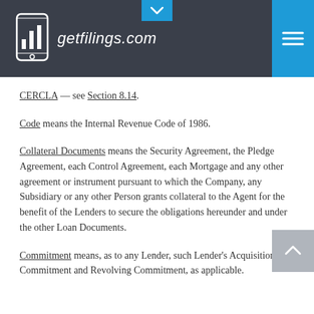getfilings.com
CERCLA — see Section 8.14.
Code means the Internal Revenue Code of 1986.
Collateral Documents means the Security Agreement, the Pledge Agreement, each Control Agreement, each Mortgage and any other agreement or instrument pursuant to which the Company, any Subsidiary or any other Person grants collateral to the Agent for the benefit of the Lenders to secure the obligations hereunder and under the other Loan Documents.
Commitment means, as to any Lender, such Lender's Acquisition Commitment and Revolving Commitment, as applicable.